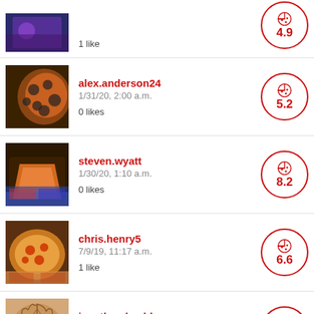1 like | score: 4.9
alex.anderson24 | 1/31/20, 2:00 a.m. | 0 likes | score: 5.2
steven.wyatt | 1/30/20, 1:10 a.m. | 0 likes | score: 8.2
chris.henry5 | 7/9/19, 11:17 a.m. | 1 like | score: 6.6
jonathan.bachler | 2/21/19, 11:47 p.m. | 1 like | score: 8.2